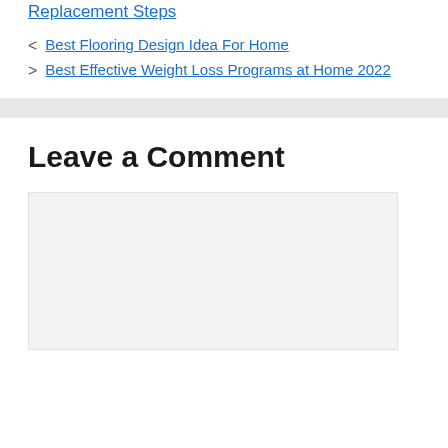Replacement Steps
Best Flooring Design Idea For Home
Best Effective Weight Loss Programs at Home 2022
Leave a Comment